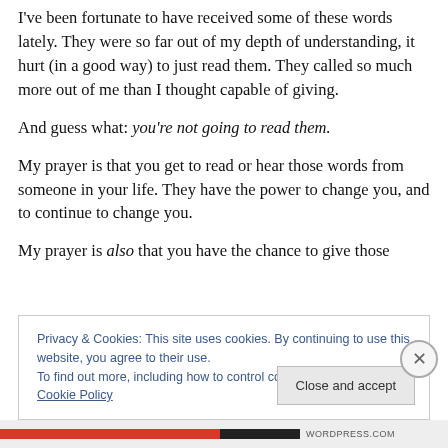I've been fortunate to have received some of these words lately. They were so far out of my depth of understanding, it hurt (in a good way) to just read them. They called so much more out of me than I thought capable of giving.
And guess what: you're not going to read them.
My prayer is that you get to read or hear those words from someone in your life. They have the power to change you, and to continue to change you.
My prayer is also that you have the chance to give those
Privacy & Cookies: This site uses cookies. By continuing to use this website, you agree to their use.
To find out more, including how to control cookies, see here: Cookie Policy
Close and accept